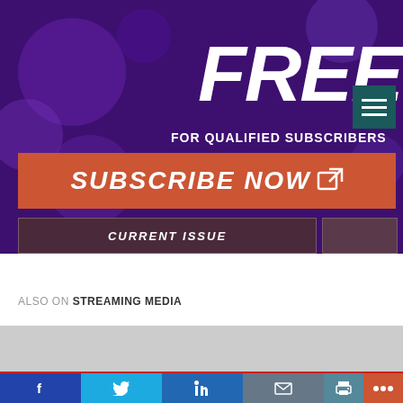[Figure (screenshot): Purple banner with FREE text in large white italic letters and FOR QUALIFIED SUBSCRIBERS text, plus a hamburger menu icon in teal]
SUBSCRIBE NOW
CURRENT ISSUE
ALSO ON STREAMING MEDIA
[Figure (infographic): Social sharing bar with Facebook, Twitter, LinkedIn, email, print, and more icons]
Social bar: Facebook, Twitter, LinkedIn, Email, Print, More